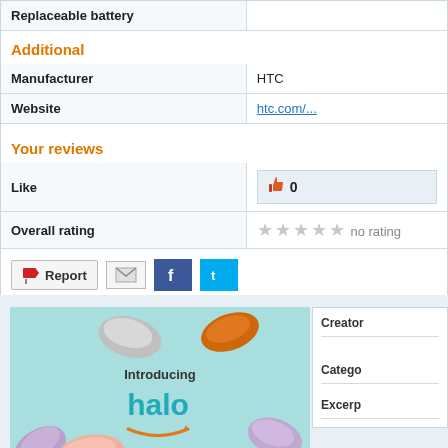| Replaceable battery |  |
| --- | --- |
Additional
| Manufacturer | HTC |
| --- | --- |
| Website | htc.com/... |
Your reviews
| Like | 0 |
| --- | --- |
| Overall rating | no rating |
[Figure (infographic): Action buttons: Report button with flag icon, email icon, Facebook icon, Twitter icon]
[Figure (photo): Amazon Halo fitness band advertisement showing colorful wristbands with text 'Introducing halo' and Amazon smile logo]
Creator
Catego
Excerp